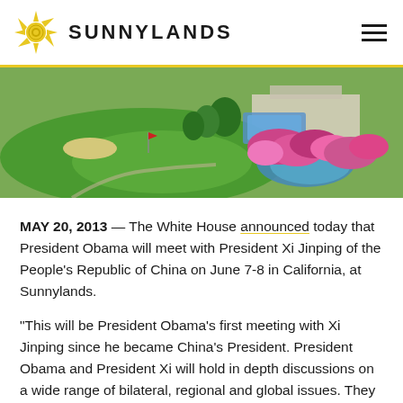SUNNYLANDS
[Figure (photo): Aerial view of Sunnylands estate showing manicured golf course green, pool area, and colorful flowering garden with water feature]
MAY 20, 2013 — The White House announced today that President Obama will meet with President Xi Jinping of the People's Republic of China on June 7-8 in California, at Sunnylands.
“This will be President Obama’s first meeting with Xi Jinping since he became China’s President. President Obama and President Xi will hold in depth discussions on a wide range of bilateral, regional and global issues. They will review progress and challenges in U.S.-China relations over the past four years and discuss ways to enhance cooperation, while